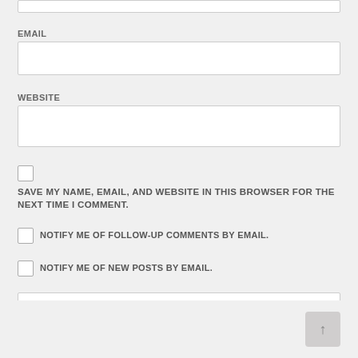EMAIL
[Figure (other): EMAIL input text field, empty, white background with gray border]
WEBSITE
[Figure (other): WEBSITE input text field, empty, white background with gray border]
[Figure (other): Checkbox unchecked]
SAVE MY NAME, EMAIL, AND WEBSITE IN THIS BROWSER FOR THE NEXT TIME I COMMENT.
[Figure (other): Checkbox unchecked]
NOTIFY ME OF FOLLOW-UP COMMENTS BY EMAIL.
[Figure (other): Checkbox unchecked]
NOTIFY ME OF NEW POSTS BY EMAIL.
[Figure (other): Post Comment button]
[Figure (other): Scroll to top button with upward arrow, gray rounded rectangle]